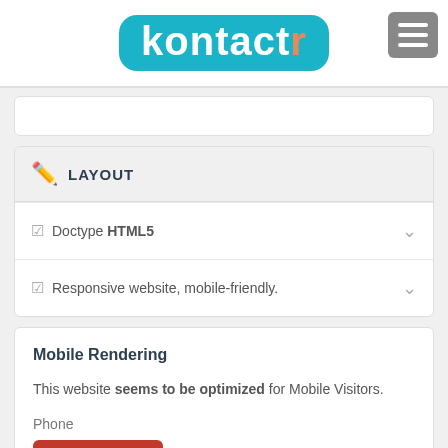kontactr
Doctype HTML5
Responsive website, mobile-friendly.
LAYOUT
Mobile Rendering
This website seems to be optimized for Mobile Visitors.
Phone